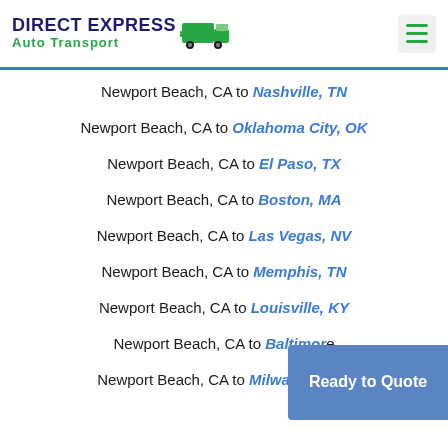DIRECT EXPRESS Auto Transport
Newport Beach, CA to Nashville, TN
Newport Beach, CA to Oklahoma City, OK
Newport Beach, CA to El Paso, TX
Newport Beach, CA to Boston, MA
Newport Beach, CA to Las Vegas, NV
Newport Beach, CA to Memphis, TN
Newport Beach, CA to Louisville, KY
Newport Beach, CA to Baltimore
Newport Beach, CA to Milwaukee, WI
Ready to Quote